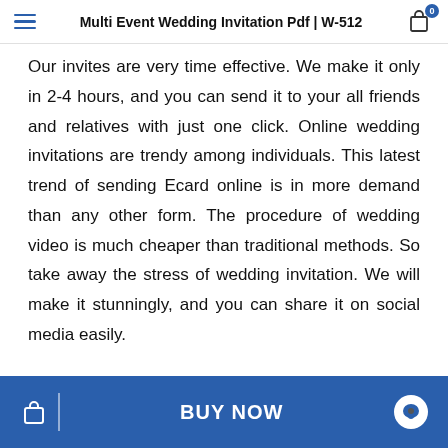Multi Event Wedding Invitation Pdf | W-512
Our invites are very time effective. We make it only in 2-4 hours, and you can send it to your all friends and relatives with just one click. Online wedding invitations are trendy among individuals. This latest trend of sending Ecard online is in more demand than any other form. The procedure of wedding video is much cheaper than traditional methods. So take away the stress of wedding invitation. We will make it stunningly, and you can share it on social media easily.
BUY NOW